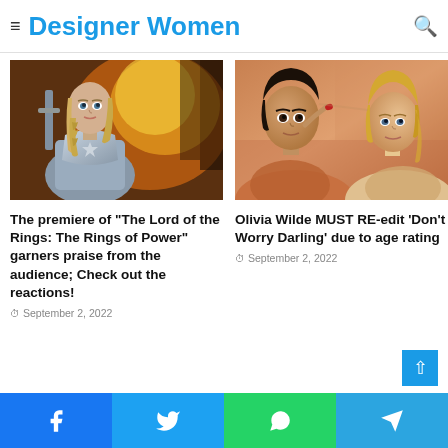Designer Women
[Figure (photo): A blonde woman in silver armor holding a sword in front of fire — from The Lord of the Rings: The Rings of Power]
The premiere of “The Lord of the Rings: The Rings of Power” garners praise from the audience; Check out the reactions!
September 2, 2022
[Figure (photo): Two people, faces close together in an intimate scene — from Don't Worry Darling]
Olivia Wilde MUST RE-edit ‘Don’t Worry Darling’ due to age rating
September 2, 2022
Facebook  Twitter  WhatsApp  Telegram